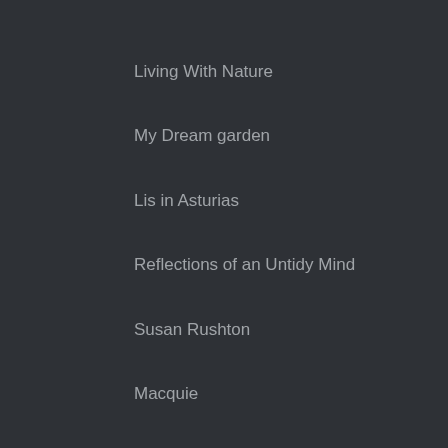Living With Nature
My Dream garden
Lis in Asturias
Reflections of an Untidy Mind
Susan Rushton
Macquie
Fred a French Gardener
The Blooming Garden
Automatic Gardening and real Gluten Free food
Creating My Own garden of the Hesperides